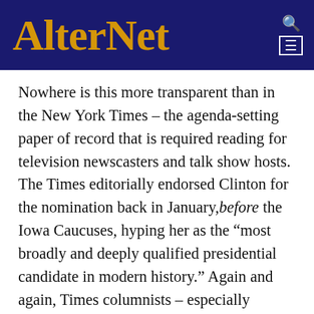AlterNet
Nowhere is this more transparent than in the New York Times – the agenda-setting paper of record that is required reading for television newscasters and talk show hosts. The Times editorially endorsed Clinton for the nomination back in January,before the Iowa Caucuses, hyping her as the “most broadly and deeply qualified presidential candidate in modern history.” Again and again, Times columnists – especially “liberals” like Paul Krugman, Nicholas Kristof, and Charles Blow – have